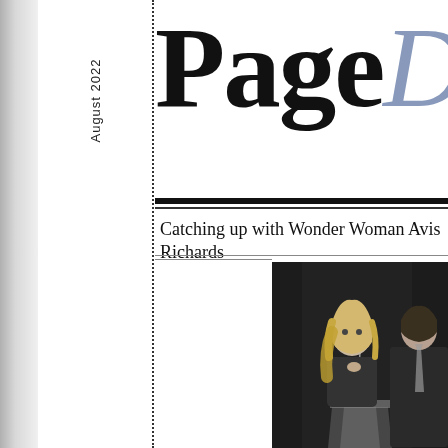August 2022
PageDaily
Catching up with Wonder Woman Avis Richards
[Figure (photo): Black and white photo of a blonde woman speaking at a clear podium/lectern with a man in a suit standing behind her to the right]